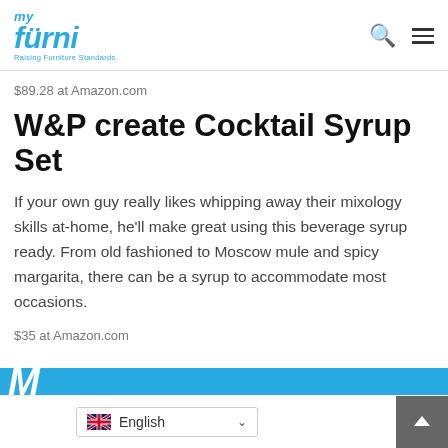my furni — Raising Furniture Standards
$89.28 at Amazon.com
W&P create Cocktail Syrup Set
If your own guy really likes whipping away their mixology skills at-home, he'll make great using this beverage syrup ready. From old fashioned to Moscow mule and spicy margarita, there can be a syrup to accommodate most occasions.
$35 at Amazon.com